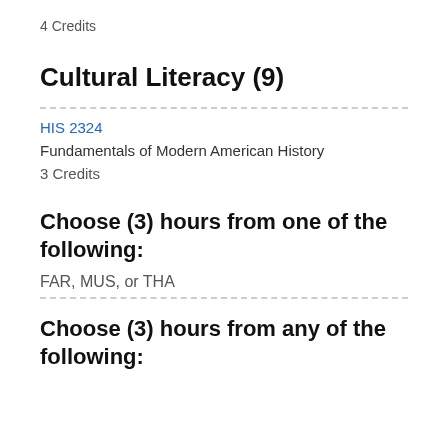4 Credits
Cultural Literacy (9)
HIS 2324
Fundamentals of Modern American History
3 Credits
Choose (3) hours from one of the following:
FAR, MUS, or THA
Choose (3) hours from any of the following: